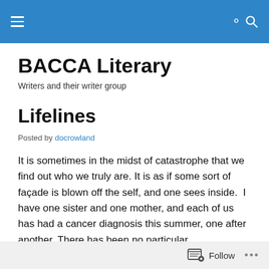BACCA Literary — navigation header bar
BACCA Literary
Writers and their writer group
Lifelines
Posted by docrowland
It is sometimes in the midst of catastrophe that we find out who we truly are. It is as if some sort of façade is blown off the self, and one sees inside.  I have one sister and one mother, and each of us has had a cancer diagnosis this summer, one after another. There has been no particular
Follow ...